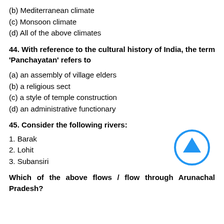(b) Mediterranean climate
(c) Monsoon climate
(d) All of the above climates
44. With reference to the cultural history of India, the term 'Panchayatan' refers to
(a) an assembly of village elders
(b) a religious sect
(c) a style of temple construction
(d) an administrative functionary
45. Consider the following rivers:
1. Barak
2. Lohit
3. Subansiri
Which of the above flows / flow through Arunachal Pradesh?